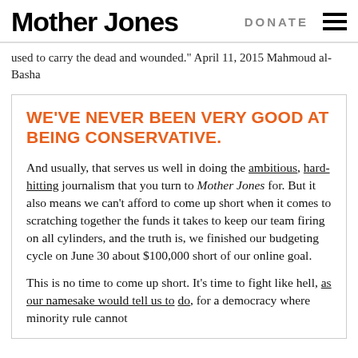Mother Jones   DONATE
used to carry the dead and wounded." April 11, 2015 Mahmoud al-Basha
WE'VE NEVER BEEN VERY GOOD AT BEING CONSERVATIVE.
And usually, that serves us well in doing the ambitious, hard-hitting journalism that you turn to Mother Jones for. But it also means we can't afford to come up short when it comes to scratching together the funds it takes to keep our team firing on all cylinders, and the truth is, we finished our budgeting cycle on June 30 about $100,000 short of our online goal.
This is no time to come up short. It's time to fight like hell, as our namesake would tell us to do, for a democracy where minority rule cannot